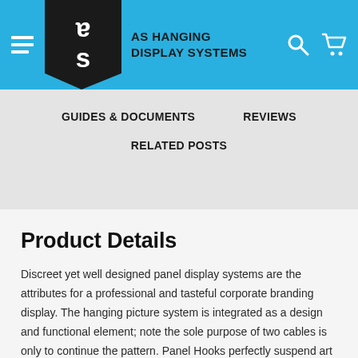AS HANGING DISPLAY SYSTEMS
GUIDES & DOCUMENTS
REVIEWS
RELATED POSTS
Product Details
Discreet yet well designed panel display systems are the attributes for a professional and tasteful corporate branding display. The hanging picture system is integrated as a design and functional element; note the sole purpose of two cables is only to continue the pattern. Panel Hooks perfectly suspend art display panels from tensioned cables. The tensioned cables are discreet yet add a designer touch to the overall panel display systems.